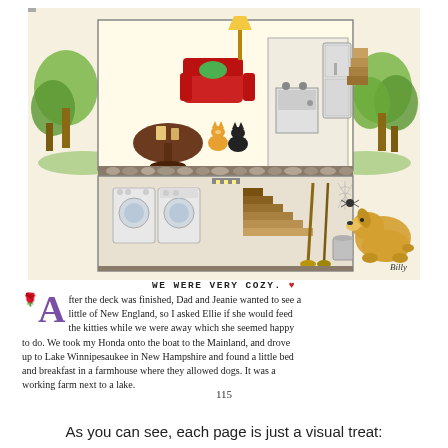[Figure (illustration): Children's book illustration showing a cross-section of a cozy house with trees on either side. Upper floor shows living room with red sofa, lamp, two cats, dining table, and kitchen with stove and refrigerator. Lower floor shows laundry area with washer/dryer, stairs, brooms, bucket, and spider web.]
WE WERE VERY COZY. ♥
After the deck was finished, Dad and Jeanie wanted to see a little of New England, so I asked Ellie if she would feed the kitties while we were away which she seemed happy to do. We took my Honda onto the boat to the Mainland, and drove up to Lake Winnipesaukee in New Hampshire and found a little bed and breakfast in a farmhouse where they allowed dogs. It was a working farm next to a lake.
115
As you can see, each page is just a visual treat: